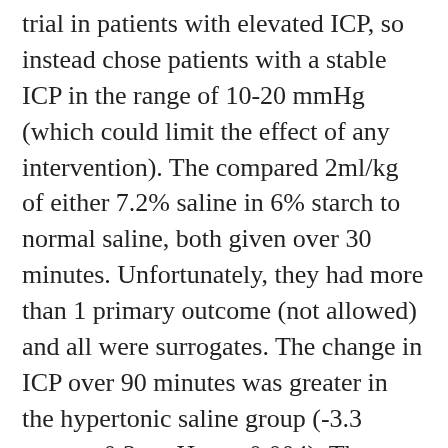trial in patients with elevated ICP, so instead chose patients with a stable ICP in the range of 10-20 mmHg (which could limit the effect of any intervention). The compared 2ml/kg of either 7.2% saline in 6% starch to normal saline, both given over 30 minutes. Unfortunately, they had more than 1 primary outcome (not allowed) and all were surrogates. The change in ICP over 90 minutes was greater in the hypertonic saline group (-3.3 versus -0.3mmHg, p=0.004). The change in CPP was also greater in the hypertonic group (5.4 versus 0.2 mmHg, p=0.002). The clinical significance of these changes is unclear, and no patient oriented